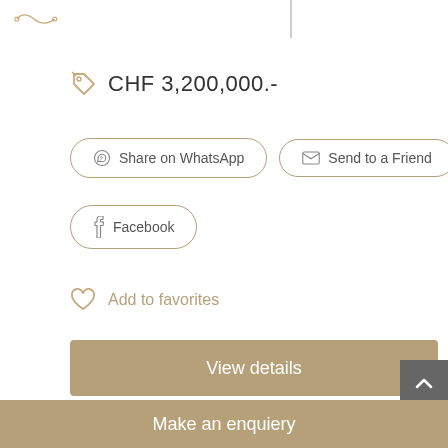CHF 3,200,000.-
Share on WhatsApp
Send to a Friend
Facebook
Add to favorites
View details
Make an enquiery